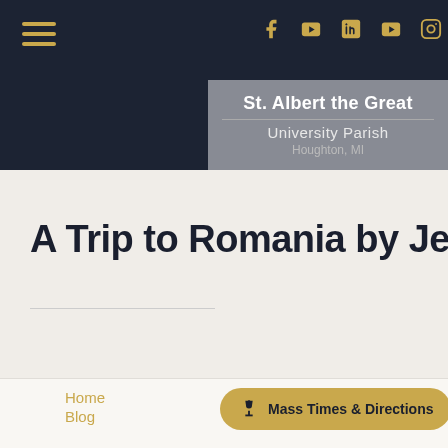[Figure (screenshot): Website header with dark navy background, hamburger menu icon on left, social media icons (Facebook, YouTube, LinkedIn, YouTube, Instagram) on right in gold color]
[Figure (logo): St. Albert the Great University Parish, Houghton, MI logo box in gray background with white text]
A Trip to Romania by Jessica M
Home | Blog | Mass Times & Directions